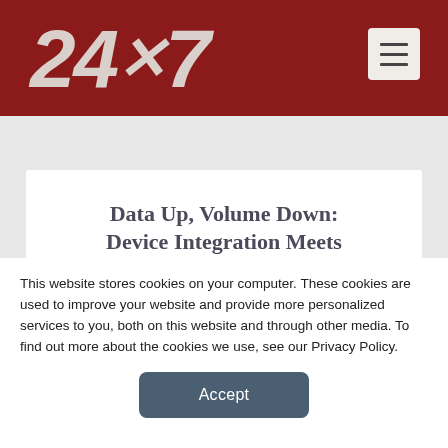24×7
Data Up, Volume Down: Device Integration Meets
This website stores cookies on your computer. These cookies are used to improve your website and provide more personalized services to you, both on this website and through other media. To find out more about the cookies we use, see our Privacy Policy.
Accept